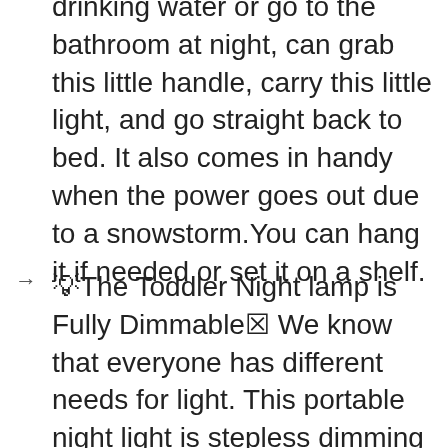drinking water or go to the bathroom at night, can grab this little handle, carry this little light, and go straight back to bed. It also comes in handy when the power goes out due to a snowstorm.You can hang it if needed or set it on a shelf.
💡 The Toddler Night lamp is Fully Dimmable✦ We know that everyone has different needs for light. This portable night light is stepless dimming design, you can adjust the brightness by Rotate button to find the most suitable light for you. The lamp does remember the last setting.